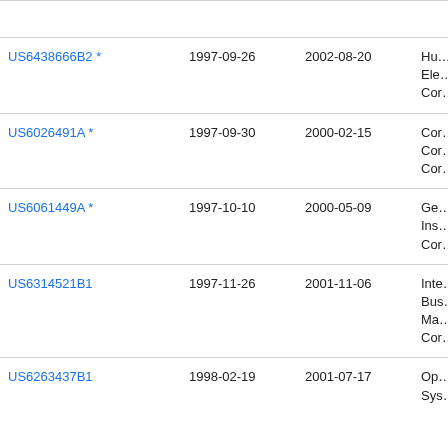| Patent | Filed | Publication Date | Assignee |
| --- | --- | --- | --- |
| US6438666B2 * | 1997-09-26 | 2002-08-20 | Hu… Ele… Cor… |
| US6026491A * | 1997-09-30 | 2000-02-15 | Cor… Cor… Cor… |
| US6061449A * | 1997-10-10 | 2000-05-09 | Ge… Ins… Cor… |
| US6314521B1 | 1997-11-26 | 2001-11-06 | Inte… Bus… Ma… Cor… |
| US6263437B1 | 1998-02-19 | 2001-07-17 | Op… Sys… |